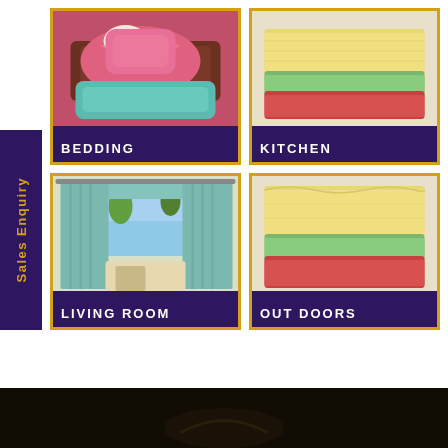[Figure (infographic): Sales Enquiry vertical tab on left side, dark purple background with gold text]
[Figure (photo): Bedding category card — photo of colorful decorative pillows (pink, teal, brown) with label BEDDING]
[Figure (photo): Kitchen category card — photo of stacked fabric napkins/towels in yellow, green, red with label KITCHEN]
[Figure (photo): Living Room category card — photo of teal curtains with roman shade in a living room with label LIVING ROOM]
[Figure (photo): Out Doors category card — photo of stacked fabric in yellow, red, green with label OUT DOORS]
[Figure (photo): Bottom dark strip showing partial dark image]